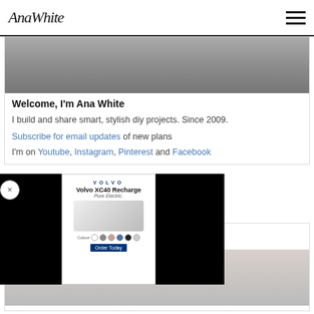Ana White
[Figure (screenshot): Partial outdoor photo showing white furniture on dark pavers]
Welcome, I'm Ana White
I build and share smart, stylish diy projects. Since 2009.
Subscribe for email updates of new plans
I'm on Youtube, Instagram, Pinterest and Facebook
[Figure (screenshot): Volvo XC40 Recharge Pure Electric advertisement overlay]
S PLAN
[Figure (photo): Bottom partial image showing hands on a light surface]